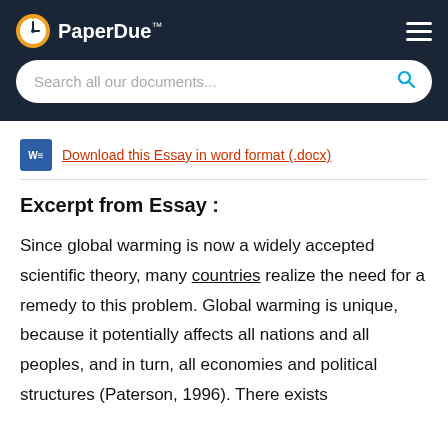PaperDue™
Search all our documents...
Download this Essay in word format (.docx)
Excerpt from Essay :
Since global warming is now a widely accepted scientific theory, many countries realize the need for a remedy to this problem. Global warming is unique, because it potentially affects all nations and all peoples, and in turn, all economies and political structures (Paterson, 1996). There exists